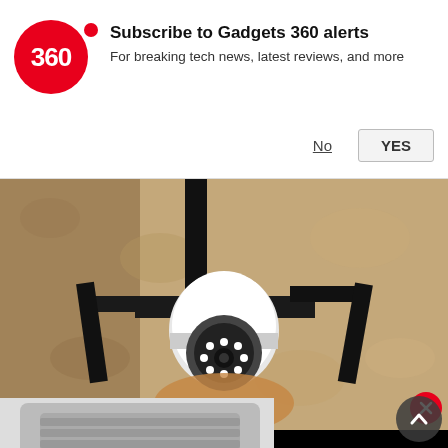[Figure (screenshot): Gadgets 360 notification prompt with red circular logo, subscribe message, No and YES buttons]
[Figure (photo): Security camera mounted on wall, white dome camera with LED ring, black bracket, textured stone wall background, person's hand visible]
Homeowners Are Trading in Their Do This.
Keilini | Sponsored
[Figure (screenshot): Video overlay with black background and red YouTube-style play button]
[Figure (photo): Partial image of a metallic product below the ad text]